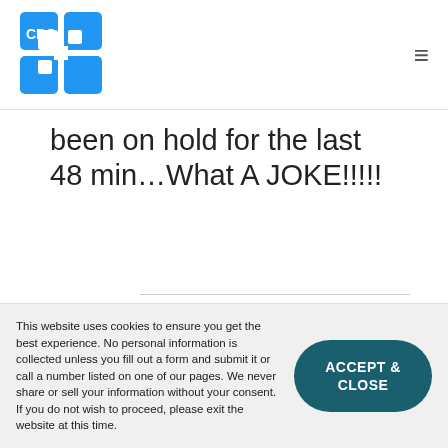[Figure (logo): CPO logo - blue puzzle piece style icon with CPO text]
been on hold for the last 48 min…What A JOKE!!!!!
This post will help: Best Payment Processors for Great Customer Service
This website uses cookies to ensure you get the best experience. No personal information is collected unless you fill out a form and submit it or call a number listed on one of our pages. We never share or sell your information without your consent. If you do not wish to proceed, please exit the website at this time.